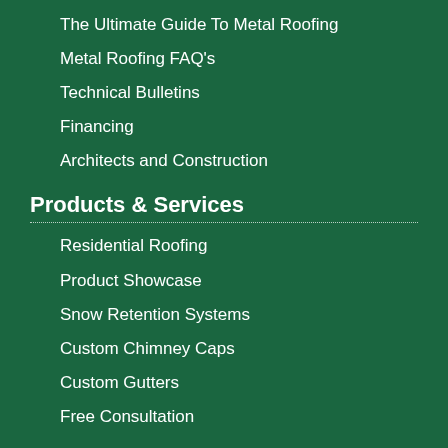The Ultimate Guide To Metal Roofing
Metal Roofing FAQ's
Technical Bulletins
Financing
Architects and Construction
Products & Services
Residential Roofing
Product Showcase
Snow Retention Systems
Custom Chimney Caps
Custom Gutters
Free Consultation